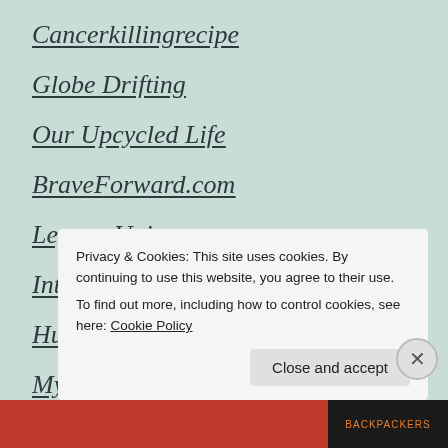Cancerkillingrecipe
Globe Drifting
Our Upcycled Life
BraveForward.com
Legacy Universe
Interesting Literature
Hungry And Fit
My Blog
P…
Privacy & Cookies: This site uses cookies. By continuing to use this website, you agree to their use.
To find out more, including how to control cookies, see here: Cookie Policy
Close and accept